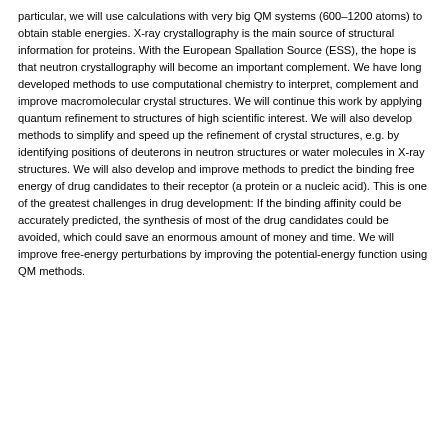particular, we will use calculations with very big QM systems (600–1200 atoms) to obtain stable energies. X-ray crystallography is the main source of structural information for proteins. With the European Spallation Source (ESS), the hope is that neutron crystallography will become an important complement. We have long developed methods to use computational chemistry to interpret, complement and improve macromolecular crystal structures. We will continue this work by applying quantum refinement to structures of high scientific interest. We will also develop methods to simplify and speed up the refinement of crystal structures, e.g. by identifying positions of deuterons in neutron structures or water molecules in X-ray structures. We will also develop and improve methods to predict the binding free energy of drug candidates to their receptor (a protein or a nucleic acid). This is one of the greatest challenges in drug development: If the binding affinity could be accurately predicted, the synthesis of most of the drug candidates could be avoided, which could save an enormous amount of money and time. We will improve free-energy perturbations by improving the potential-energy function using QM methods.